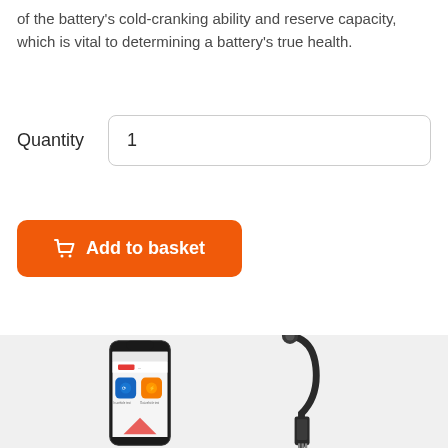of the battery's cold-cranking ability and reserve capacity, which is vital to determining a battery's true health.
Quantity   1
Add to basket
[Figure (photo): Product photo showing a smartphone with the Autel app open alongside an Autel battery testing device/cable on a light grey background]